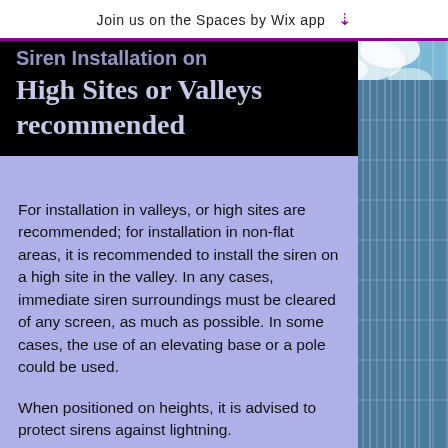Join us on the Spaces by Wix app ↓
Siren Installation on High Sites or Valleys recommended
For installation in valleys, or high sites are recommended; for installation in non-flat areas, it is recommended to install the siren on a high site in the valley. In any cases, immediate siren surroundings must be cleared of any screen, as much as possible. In some cases, the use of an elevating base or a pole could be used.
When positioned on heights, it is advised to protect sirens against lightning.